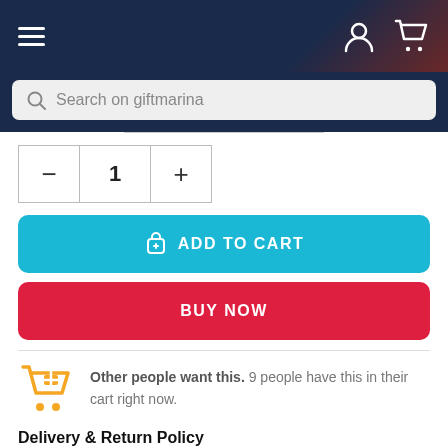Navigation header with hamburger menu, user icon, cart icon
Search on giftmarina
1
ADD TO CART
BUY NOW
Other people want this. 9 people have this in their cart right now.
Delivery & Return Policy
Usually ships within 3-5 business days.
Deliver time 7-10 business days.
Shipping And Return Policy